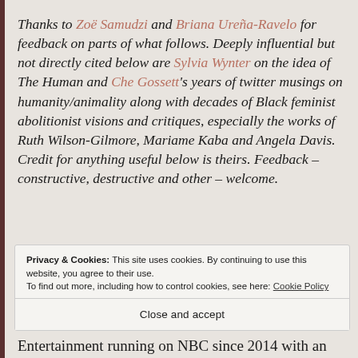Thanks to Zoë Samudzi and Briana Ureña-Ravelo for feedback on parts of what follows. Deeply influential but not directly cited below are Sylvia Wynter on the idea of The Human and Che Gossett's years of twitter musings on humanity/animality along with decades of Black feminist abolitionist visions and critiques, especially the works of Ruth Wilson-Gilmore, Mariame Kaba and Angela Davis. Credit for anything useful below is theirs. Feedback – constructive, destructive and other – welcome.
Privacy & Cookies: This site uses cookies. By continuing to use this website, you agree to their use. To find out more, including how to control cookies, see here: Cookie Policy
Close and accept
Entertainment running on NBC since 2014 with an